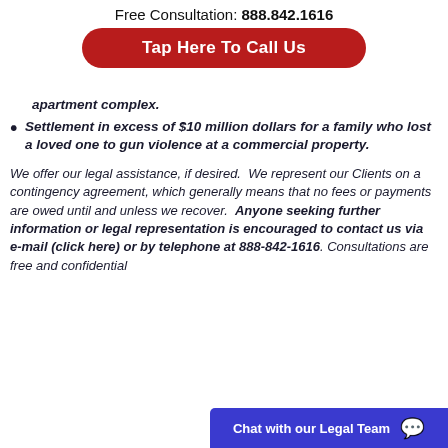Free Consultation: 888.842.1616
Tap Here To Call Us
apartment complex.
Settlement in excess of $10 million dollars for a family who lost a loved one to gun violence at a commercial property.
We offer our legal assistance, if desired.  We represent our Clients on a contingency agreement, which generally means that no fees or payments are owed until and unless we recover.  Anyone seeking further information or legal representation is encouraged to contact us via e-mail (click here) or by telephone at 888-842-1616. Consultations are free and confidential
Chat with our Legal Team